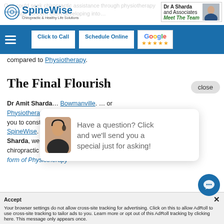[Figure (screenshot): SpineWise website header with logo, Dr A Sharda and Associates panel with Meet The Team link and doctor photo]
One could seek chiropractic assistance through physiotherapy… a huge concern often developing into… about chiropractic treatment…
Click to Call | Schedule Online | Google ★★★★★
compared to Physiotherapy.
The Final Flourish
Dr Amit Sharda… Bowmanville. … or Physiotherapy… urge you to constantly … SpineWise. Under … Amit Sharda, we continue to offer the best chiropractic service in the form of Physiotherapy
[Figure (infographic): Chat popup with avatar: Have a question? Click and we'll send you a special just for asking!]
Accept × Your browser settings do not allow cross-site tracking for advertising. Click on this to allow AdRoll to use cross-site tracking to tailor ads to you. Learn more or opt out of this AdRoll tracking by clicking here. This message only appears once.